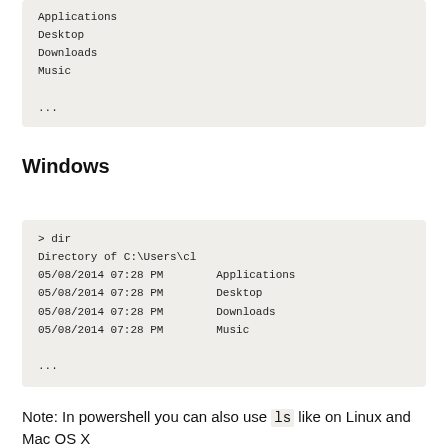Applications
Desktop
Downloads
Music

...
Windows
> dir
Directory of C:\Users\cl
05/08/2014 07:28 PM        Applications
05/08/2014 07:28 PM        Desktop
05/08/2014 07:28 PM        Downloads
05/08/2014 07:28 PM        Music

...
Note: In powershell you can also use ls like on Linux and Mac OS X